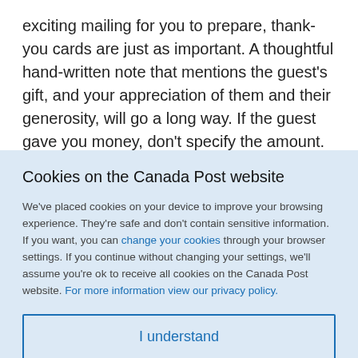exciting mailing for you to prepare, thank-you cards are just as important. A thoughtful hand-written note that mentions the guest's gift, and your appreciation of them and their generosity, will go a long way. If the guest gave you money, don't specify the amount.
You can really personalize thank-you cards...
Cookies on the Canada Post website
We've placed cookies on your device to improve your browsing experience. They're safe and don't contain sensitive information. If you want, you can change your cookies through your browser settings. If you continue without changing your settings, we'll assume you're ok to receive all cookies on the Canada Post website. For more information view our privacy policy.
I understand